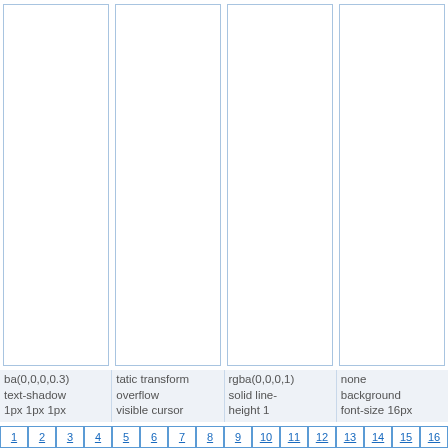[Figure (other): Four tall vertical column panels with light blue borders on white background, arranged in a row]
ba(0,0,0,0.3) text-shadow 1px 1px 1px
tatic transform overflow visible cursor
rgba(0,0,0,1) solid line-height 1
none background font-size 16px
1 | 2 | 3 | 4 | 5 | 6 | 7 | 8 | 9 | 10 | 11 | 12 | 13 | 14 | 15 | 16